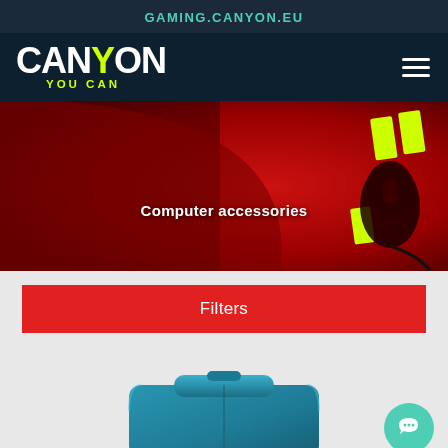GAMING.CANYON.EU
[Figure (logo): Canyon logo with 'YOU CAN' tagline in yellow-green on dark navy background, with hamburger menu icon on the right]
[Figure (photo): Hero banner image with red background showing a gaming mouse with yellow-green accent marks, text overlay 'Computer accessories']
Computer accessories
Filters
[Figure (photo): Teal/blue laptop bag or pouch product image on light grey background]
[Figure (infographic): Green circular chat/support button with speech bubble icon]